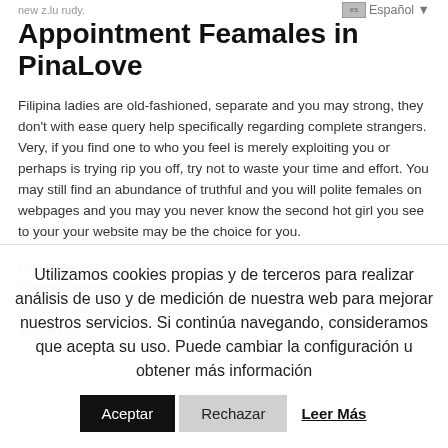new z.lu rudy.
es Español ▼
Appointment Feamales in PinaLove
Filipina ladies are old-fashioned, separate and you may strong, they don't with ease query help specifically regarding complete strangers. Very, if you find one to who you feel is merely exploiting you or perhaps is trying rip you off, try not to waste your time and effort. You may still find an abundance of truthful and you will polite females on webpages and you may you never know the second hot girl you see to your your website may be the choice for you.
Complete, Pinalove is an excellent dating site that have a lot of smokin' beautiful female. It's got bells and whistles that is an effective affordability. You should be wary of the girls you talk to and sustain on
Utilizamos cookies propias y de terceros para realizar análisis de uso y de medición de nuestra web para mejorar nuestros servicios. Si continúa navegando, consideramos que acepta su uso. Puede cambiar la configuración u obtener más información
Aceptar | Rechazar | Leer Más